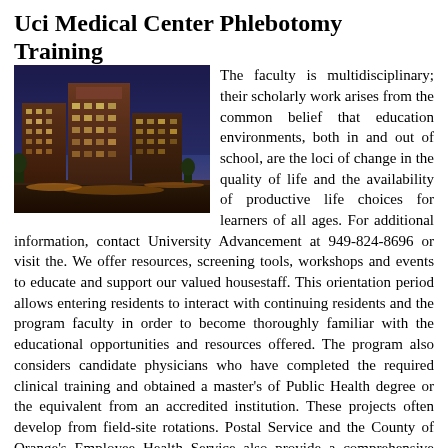Uci Medical Center Phlebotomy Training
[Figure (photo): Exterior nighttime photo of UCI Medical Center building complex, multi-story modern hospital buildings illuminated against a twilight sky]
The faculty is multidisciplinary; their scholarly work arises from the common belief that education environments, both in and out of school, are the loci of change in the quality of life and the availability of productive life choices for learners of all ages. For additional information, contact University Advancement at 949-824-8696 or visit the. We offer resources, screening tools, workshops and events to educate and support our valued housestaff. This orientation period allows entering residents to interact with continuing residents and the program faculty in order to become thoroughly familiar with the educational opportunities and resources offered. The program also considers candidate physicians who have completed the required clinical training and obtained a master's of Public Health degree or the equivalent from an accredited institution. These projects often develop from field-site rotations. Postal Service and the County of Orange's Employee Health Service also provide a comprehensive range of learning experiences in occupational medicine programs.